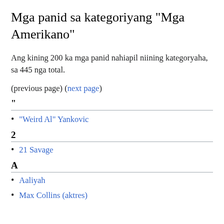Mga panid sa kategoriyang "Mga Amerikano"
Ang kining 200 ka mga panid nahiapil niining kategoryaha, sa 445 nga total.
(previous page) (next page)
"
"Weird Al" Yankovic
2
21 Savage
A
Aaliyah
Max Collins (aktres)